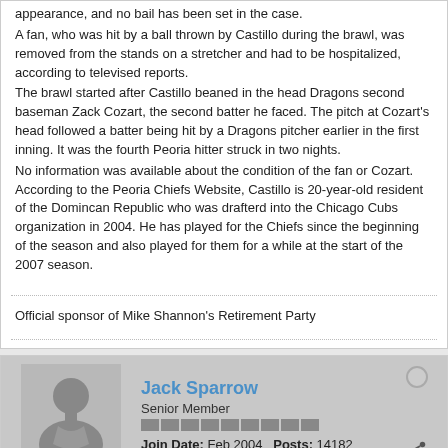appearance, and no bail has been set in the case. A fan, who was hit by a ball thrown by Castillo during the brawl, was removed from the stands on a stretcher and had to be hospitalized, according to televised reports. The brawl started after Castillo beaned in the head Dragons second baseman Zack Cozart, the second batter he faced. The pitch at Cozart's head followed a batter being hit by a Dragons pitcher earlier in the first inning. It was the fourth Peoria hitter struck in two nights. No information was available about the condition of the fan or Cozart. According to the Peoria Chiefs Website, Castillo is 20-year-old resident of the Domincan Republic who was drafterd into the Chicago Cubs organization in 2004. He has played for the Chiefs since the beginning of the season and also played for them for a while at the start of the 2007 season.
Official sponsor of Mike Shannon's Retirement Party
Jack Sparrow
Senior Member
Join Date: Feb 2004   Posts: 14182
07-25-2008, 07:27 AM
#3
That guy launched it as hard as he could throw it at the dugout